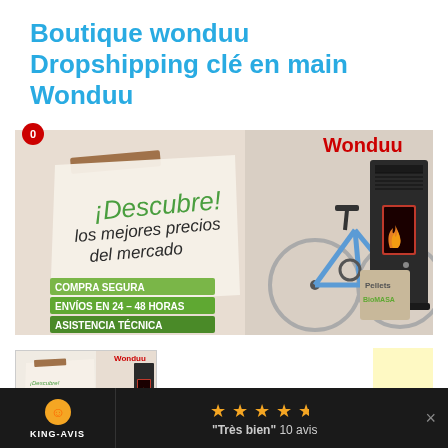Boutique wonduu Dropshipping clé en main Wonduu
[Figure (illustration): Wonduu promotional banner showing a bicycle and a pellet stove heater with text: ¡Descubre! los mejores precios del mercado, COMPRA SEGURA, ENVÍOS EN 24-48 HORAS, ASISTENCIA TÉCNICA, Wonduu brand name in red]
[Figure (illustration): Small thumbnail of the Wonduu promotional banner]
"Très bien" 10 avis